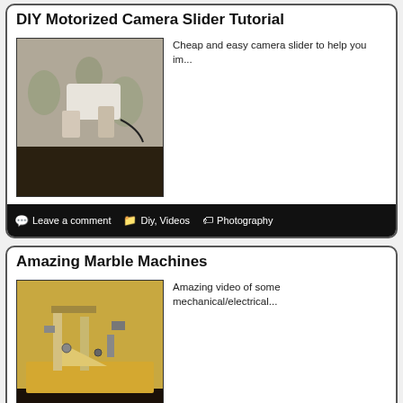DIY Motorized Camera Slider Tutorial
[Figure (photo): Hands working with white object on floral background, video thumbnail]
Cheap and easy camera slider to help you im...
Leave a comment  Diy, Videos  Photography
Amazing Marble Machines
[Figure (photo): Wooden marble machine mechanical/electrical contraption on table, video thumbnail]
Amazing video of some mechanical/electrical...
One comment  Videos  marbles, mechanical
Senior Project: Tracking Portal Turret